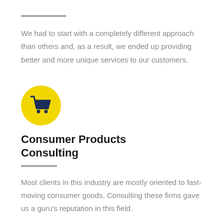We had to start with a completely different approach than others and, as a result, we ended up providing better and more unique services to our customers.
[Figure (illustration): Yellow circle icon containing a dark navy blue shopping cart symbol]
Consumer Products Consulting
Most clients in this industry are mostly oriented to fast-moving consumer goods. Consulting these firms gave us a guru's reputation in this field.